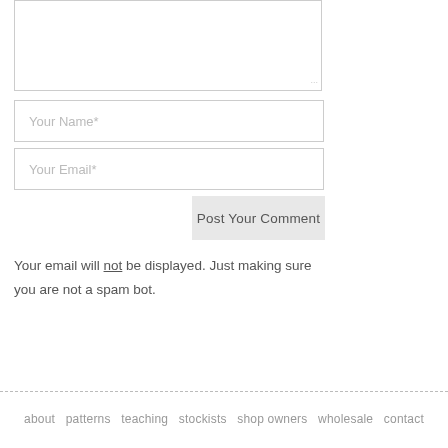[Figure (screenshot): A textarea form field with resize handle at bottom-right corner]
Your Name*
Your Email*
Post Your Comment
Your email will not be displayed. Just making sure you are not a spam bot.
about   patterns   teaching   stockists   shop owners   wholesale   contact